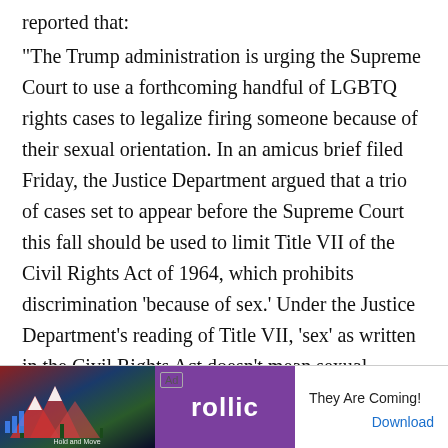reported that:
“The Trump administration is urging the Supreme Court to use a forthcoming handful of LGBTQ rights cases to legalize firing someone because of their sexual orientation. In an amicus brief filed Friday, the Justice Department argued that a trio of cases set to appear before the Supreme Court this fall should be used to limit Title VII of the Civil Rights Act of 1964, which prohibits discrimination ‘because of sex.’ Under the Justice Department’s reading of Title VII, ‘sex’ as written in the Civil Rights Act doesn’t mean sexual orientation. Therefore, they argue, the law
[Figure (screenshot): Advertisement banner for Rollic game app. Shows 'Ad' label, game imagery on left, Rollic purple logo in center, and 'They Are Coming!' tagline with 'Download' link on right.]